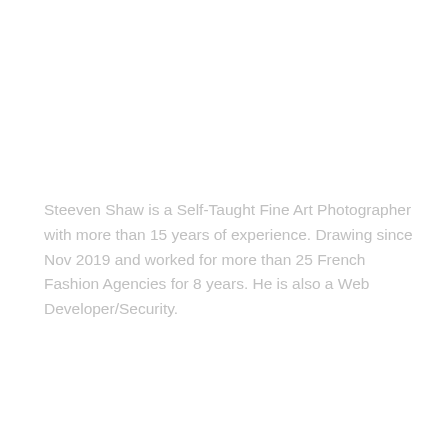Steeven Shaw is a Self-Taught Fine Art Photographer with more than 15 years of experience. Drawing since Nov 2019 and worked for more than 25 French Fashion Agencies for 8 years. He is also a Web Developer/Security.